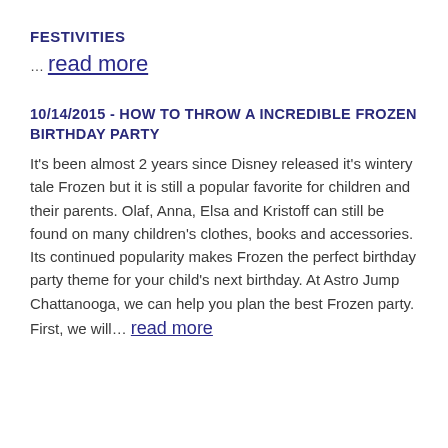FESTIVITIES
… read more
10/14/2015 - HOW TO THROW A INCREDIBLE FROZEN BIRTHDAY PARTY
It's been almost 2 years since Disney released it's wintery tale Frozen but it is still a popular favorite for children and their parents. Olaf, Anna, Elsa and Kristoff can still be found on many children's clothes, books and accessories. Its continued popularity makes Frozen the perfect birthday party theme for your child's next birthday. At Astro Jump Chattanooga, we can help you plan the best Frozen party. First, we will… read more